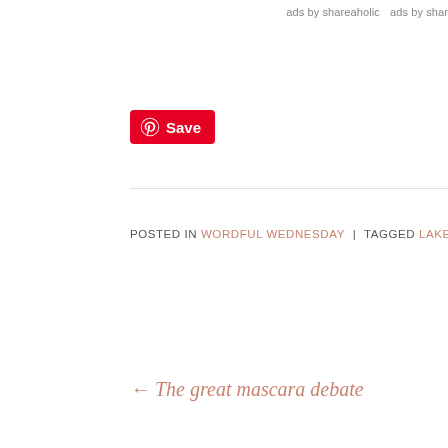ads by shareaholic   ads by shar
[Figure (other): Pinterest Save button with red background and white Pinterest logo]
POSTED IN WORDFUL WEDNESDAY | TAGGED LAKE MICHIGAN, MICHIGAN
← The great mascara debate
You can find me in your inbox!
Enter your email address: